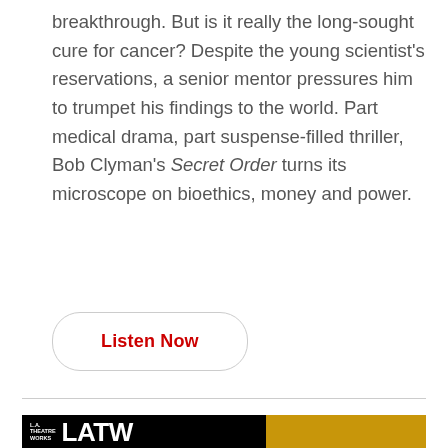breakthrough. But is it really the long-sought cure for cancer? Despite the young scientist's reservations, a senior mentor pressures him to trumpet his findings to the world. Part medical drama, part suspense-filled thriller, Bob Clyman's Secret Order turns its microscope on bioethics, money and power.
Listen Now
[Figure (photo): L.A. Theatre Works (LATW) banner/logo on a dark background with a gold bar on the right side. The LATW logo appears in large white bold text with 'L.A. THEATRE WORKS' text in small white text to the left of it.]